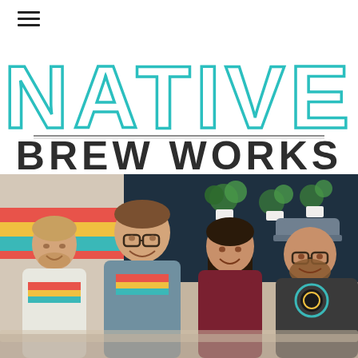[Figure (logo): Native Brew Works logo with teal outlined block letters for NATIVE and dark solid letters for BREW WORKS, separated by a horizontal rule]
[Figure (photo): Four smiling people standing together in a brewery/taproom setting. They are wearing Native Brew Works branded t-shirts. Behind them is a colorful striped wall on the left and a dark teal wall with plants on the right.]